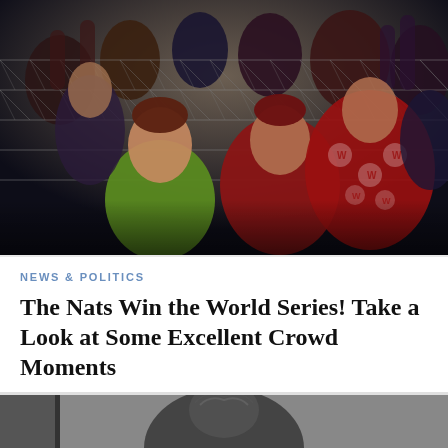[Figure (photo): Crowd of Washington Nationals fans at a baseball game, wearing team gear and rain ponchos with the W logo, cheering enthusiastically behind a chain-link fence at night]
NEWS & POLITICS
The Nats Win the World Series! Take a Look at Some Excellent Crowd Moments
Crazy game. Crazy series. Awesome fans.
[Figure (photo): Partially visible black and white photo at bottom of page, appears to show a person or subject in dark tones]